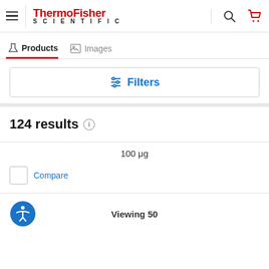[Figure (logo): ThermoFisher Scientific logo with hamburger menu, search icon, and cart icon in header]
Products   Images
Filters
124 results
100 μg
Compare
Viewing 50